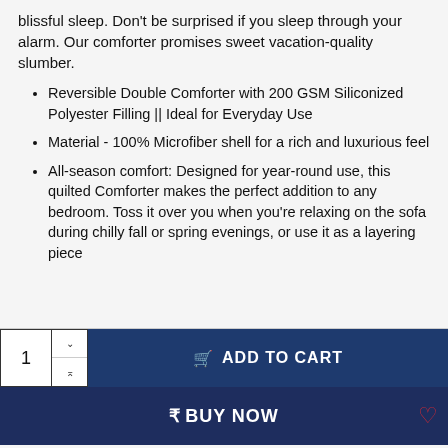blissful sleep. Don't be surprised if you sleep through your alarm. Our comforter promises sweet vacation-quality slumber.
Reversible Double Comforter with 200 GSM Siliconized Polyester Filling || Ideal for Everyday Use
Material - 100% Microfiber shell for a rich and luxurious feel
All-season comfort: Designed for year-round use, this quilted Comforter makes the perfect addition to any bedroom. Toss it over you when you're relaxing on the sofa during chilly fall or spring evenings, or use it as a layering piece